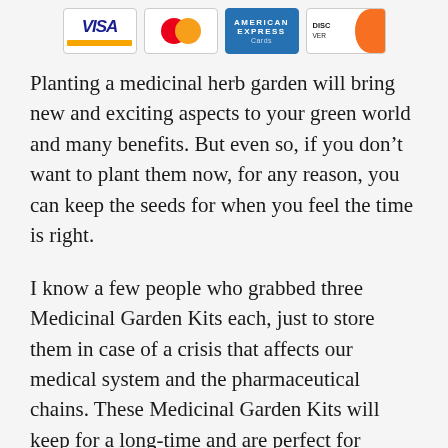[Figure (other): Four payment card logos at the top: Visa, Mastercard, American Express, Discover]
Planting a medicinal herb garden will bring new and exciting aspects to your green world and many benefits. But even so, if you don't want to plant them now, for any reason, you can keep the seeds for when you feel the time is right.
I know a few people who grabbed three Medicinal Garden Kits each, just to store them in case of a crisis that affects our medical system and the pharmaceutical chains. These Medicinal Garden Kits will keep for a long-time and are perfect for people who want to be more self-reliant and for those who are preparing for the worst of times...